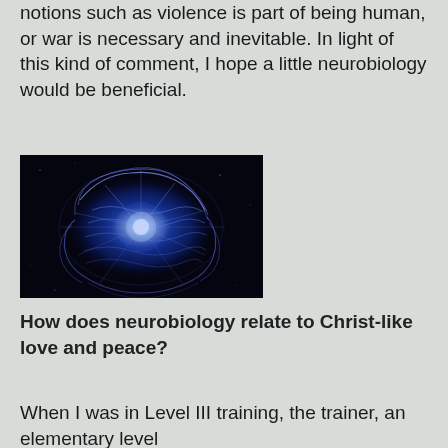notions such as violence is part of being human, or war is necessary and inevitable. In light of this kind of comment, I hope a little neurobiology would be beneficial.
[Figure (photo): A glowing blue brain illustration against a dark space/galaxy background, showing neural connections with bright blue and white light patterns.]
How does neurobiology relate to Christ-like love and peace?
When I was in Level III training, the trainer, an elementary level